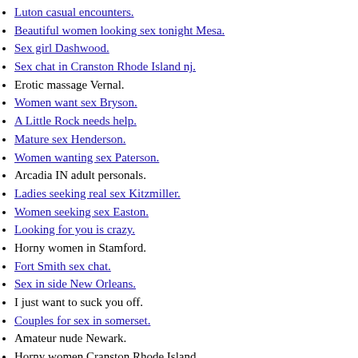Luton casual encounters.
Beautiful women looking sex tonight Mesa.
Sex girl Dashwood.
Sex chat in Cranston Rhode Island nj.
Erotic massage Vernal.
Women want sex Bryson.
A Little Rock needs help.
Mature sex Henderson.
Women wanting sex Paterson.
Arcadia IN adult personals.
Ladies seeking real sex Kitzmiller.
Women seeking sex Easton.
Looking for you is crazy.
Horny women in Stamford.
Fort Smith sex chat.
Sex in side New Orleans.
I just want to suck you off.
Couples for sex in somerset.
Amateur nude Newark.
Horny women Cranston Rhode Island.
Looking for Greensboro luvin nsa.
I want free sex with girl.
Wentworth horny moms